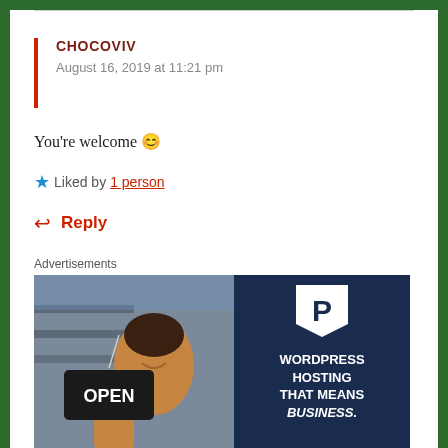CHOCOVIV
August 16, 2019 at 11:21 pm
You're welcome 😊
★ Liked by 1 person
↩ Reply
Advertisements
[Figure (photo): Advertisement banner showing a woman holding an OPEN sign on the left and dark navy right panel with a P logo and text: WORDPRESS HOSTING THAT MEANS BUSINESS.]